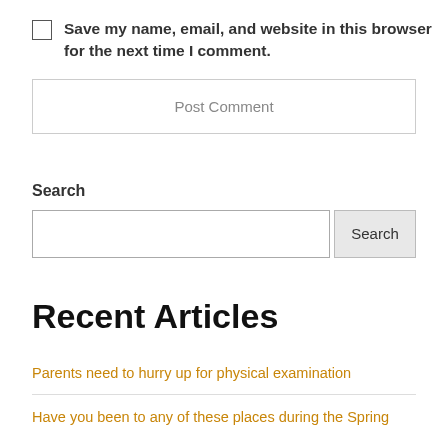Save my name, email, and website in this browser for the next time I comment.
Post Comment
Search
Search
Recent Articles
Parents need to hurry up for physical examination
Have you been to any of these places during the Spring